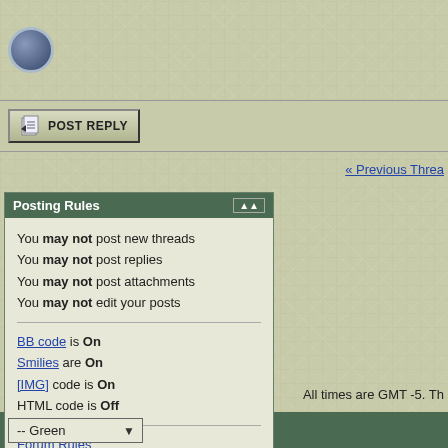[Figure (logo): Blue circular orb/logo icon in the top-left header area]
[Figure (screenshot): POST REPLY button with document icon]
« Previous Thread
Posting Rules
You may not post new threads
You may not post replies
You may not post attachments
You may not edit your posts
BB code is On
Smilies are On
[IMG] code is On
HTML code is Off
Forum Rules
All times are GMT -5. Th
-- Green
Powered by vBulletin® Version 3.8.11
Copyright ©2000 - 2022, vBulletin Solutions Inc.
Ad Management by RedTyger
Inactive Reminders By Icora Web Design